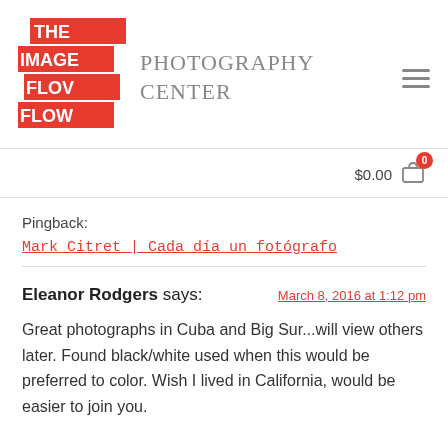[Figure (logo): The Image Flow Photography Center logo — red square with white text THE IMAGE FLOW and grey text PHOTOGRAPHY CENTER beside it]
$0.00
Pingback:
Mark Citret  |  Cada día un fotógrafo
Eleanor Rodgers says:
March 8, 2016 at 1:12 pm
Great photographs in Cuba and Big Sur...will view others later. Found black/white used when this would be preferred to color. Wish I lived in California, would be easier to join you.